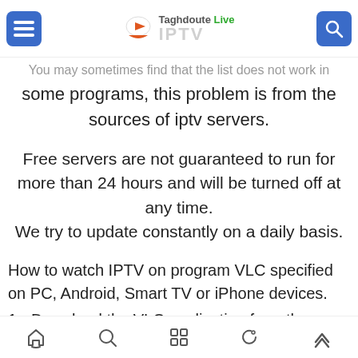Taghdoute Live IPTV
You may sometimes find that the list does not work in some programs, this problem is from the sources of iptv servers.
Free servers are not guaranteed to run for more than 24 hours and will be turned off at any time.
We try to update constantly on a daily basis.
How to watch IPTV on program VLC specified on PC, Android, Smart TV or iPhone devices.
1 - Download the VLC application from the official
navigation icons: home, search, apps, night, up